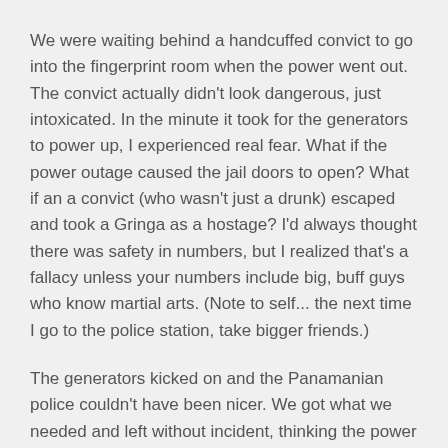We were waiting behind a handcuffed convict to go into the fingerprint room when the power went out. The convict actually didn't look dangerous, just intoxicated. In the minute it took for the generators to power up, I experienced real fear. What if the power outage caused the jail doors to open? What if an a convict (who wasn't just a drunk) escaped and took a Gringa as a hostage? I'd always thought there was safety in numbers, but I realized that's a fallacy unless your numbers include big, buff guys who know martial arts. (Note to self... the next time I go to the police station, take bigger friends.)
The generators kicked on and the Panamanian police couldn't have been nicer. We got what we needed and left without incident, thinking the power outage had only been in the police station. We returned back to my neighborhood and went to a restaurant I've been wanting to try for a late lunch. The restaurant was open, but the host indicated that the power was off and they weren't serving food. Since he was talking to us in